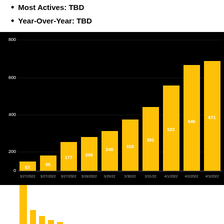Most Actives: TBD
Year-Over-Year: TBD
[Figure (bar-chart): ]
[Figure (bar-chart): Partial bottom bar chart showing smaller bars, cropped at page bottom]